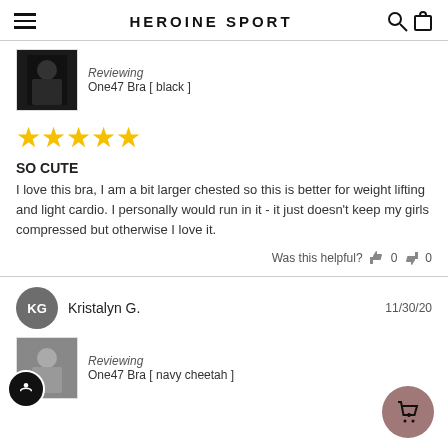HEROINE SPORT
Reviewing
One47 Bra [ black ]
[Figure (other): Five gold stars rating]
SO CUTE
I love this bra, I am a bit larger chested so this is better for weight lifting and light cardio. I personally would run in it - it just doesn't keep my girls compressed but otherwise I love it.
Was this helpful? 0 0
Kristalyn G. — 11/30/20
Reviewing
One47 Bra [ navy cheetah ]